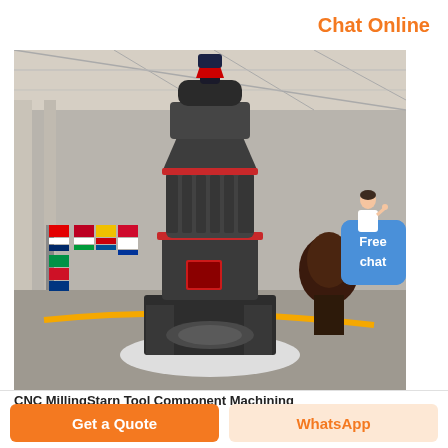Chat Online
[Figure (photo): Large industrial vertical grinding mill machine displayed in a factory/warehouse hall, with international flags in the background and white gravel around the base.]
CNC MillingStarn Tool Component Machining
Get a Quote
WhatsApp